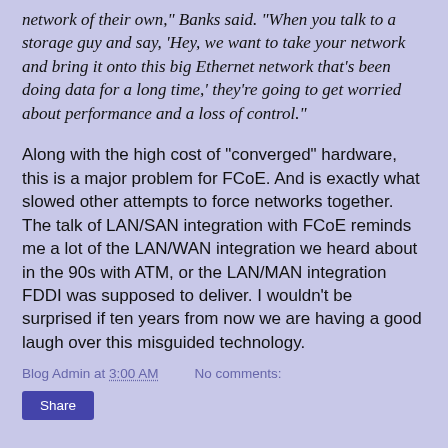network of their own," Banks said. "When you talk to a storage guy and say, 'Hey, we want to take your network and bring it onto this big Ethernet network that's been doing data for a long time,' they're going to get worried about performance and a loss of control."
Along with the high cost of "converged" hardware, this is a major problem for FCoE. And is exactly what slowed other attempts to force networks together. The talk of LAN/SAN integration with FCoE reminds me a lot of the LAN/WAN integration we heard about in the 90s with ATM, or the LAN/MAN integration FDDI was supposed to deliver. I wouldn't be surprised if ten years from now we are having a good laugh over this misguided technology.
Blog Admin at 3:00 AM    No comments:
Share
WEDNESDAY, SEPTEMBER 22, 2010
Intel's Light Peak OR USB 3.0?